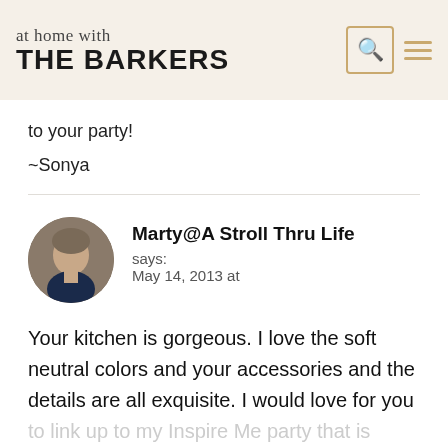at home with THE BARKERS
to your party!
~Sonya
Marty@A Stroll Thru Life says: May 14, 2013 at
Your kitchen is gorgeous. I love the soft neutral colors and your accessories and the details are all exquisite. I would love for you to link up to my Inspire Me party that is